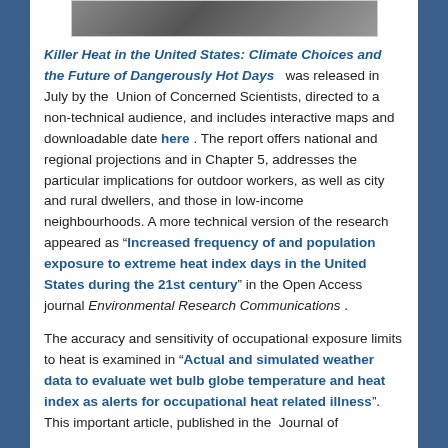[Figure (photo): Partial photo visible at top of page, appears to show outdoor/nature scene]
Killer Heat in the United States: Climate Choices and the Future of Dangerously Hot Days was released in July by the Union of Concerned Scientists, directed to a non-technical audience, and includes interactive maps and downloadable date here . The report offers national and regional projections and in Chapter 5, addresses the particular implications for outdoor workers, as well as city and rural dwellers, and those in low-income neighbourhoods. A more technical version of the research appeared as “Increased frequency of and population exposure to extreme heat index days in the United States during the 21st century” in the Open Access journal Environmental Research Communications .
The accuracy and sensitivity of occupational exposure limits to heat is examined in “Actual and simulated weather data to evaluate wet bulb globe temperature and heat index as alerts for occupational heat related illness”. This important article, published in the Journal of